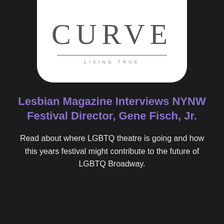[Figure (logo): CURVE magazine logo with tagline 'LIVING TRUE' on white rounded card]
Lesbian Magazine Interviews NYNW Festival Director, Gene Fisch, Jr.
Read about where LGBTQ theatre is going and how this years festival might contribute to the future of LGBTQ Broadway.